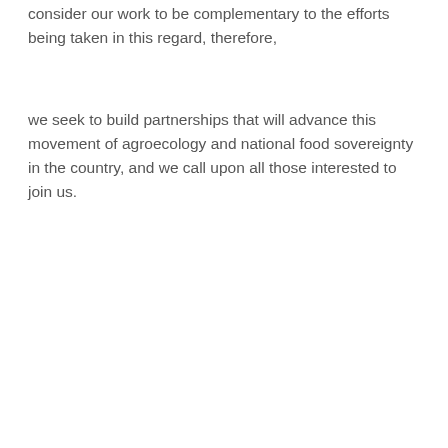consider our work to be complementary to the efforts being taken in this regard, therefore,
we seek to build partnerships that will advance this movement of agroecology and national food sovereignty in the country, and we call upon all those interested to join us.